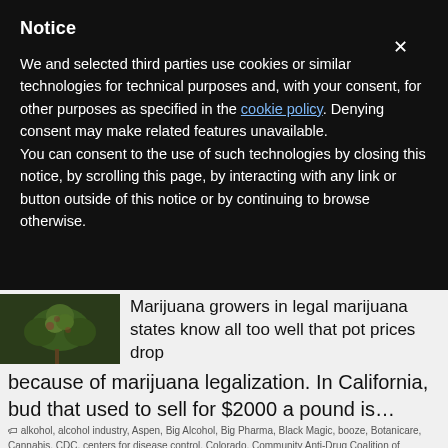Notice
We and selected third parties use cookies or similar technologies for technical purposes and, with your consent, for other purposes as specified in the cookie policy. Denying consent may make related features unavailable.
You can consent to the use of such technologies by closing this notice, by scrolling this page, by interacting with any link or button outside of this notice or by continuing to browse otherwise.
[Figure (photo): Thumbnail image of marijuana/cannabis plant with green buds]
Marijuana growers in legal marijuana states know all too well that pot prices drop because of marijuana legalization. In California, bud that used to sell for $2000 a pound is…
🏷 alkohol, alcohol industry, Aspen, Big Alcohol, Big Pharma, Black Magic, booze, Botanicare, Cannabis, CDC, centers for disease control, Colorado, Community Anti-Drug Coalition of America, corporate, dronabinol, featured, Gavita, General Hydroponics, hard alcohol, Heroin, Insys, legalized marijuana, liquor, Medical Marijuana, National Institute on Alcohol, Abuse and Alcoholism, National Institutes of Health, NIAAA, ...